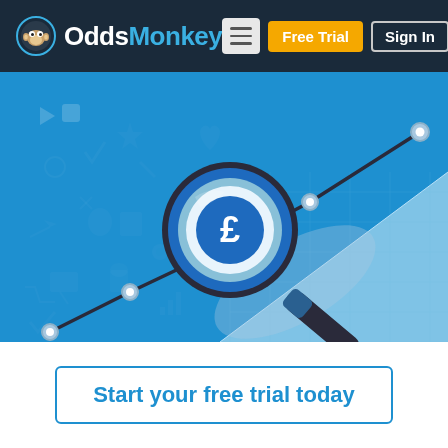OddsMonkey — Free Trial | Sign In
[Figure (illustration): Illustration of a magnifying glass with a pound sign (£) in the center, overlaid on a blue background with a rising line graph and faint icons (betting, financial symbols). The lens is dark-rimmed with blue/white circles inside.]
Start your free trial today